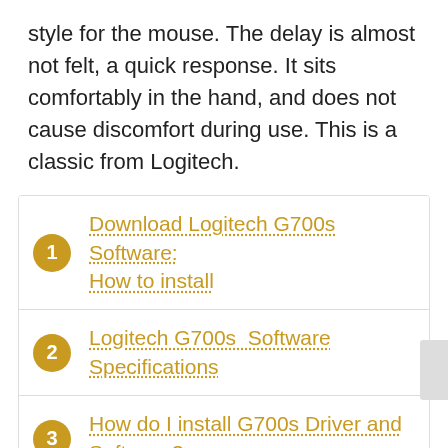style for the mouse. The delay is almost not felt, a quick response. It sits comfortably in the hand, and does not cause discomfort during use. This is a classic from Logitech.
1. Download Logitech G700s Software: How to install
2. Logitech G700s Software Specifications
3. How do I install G700s Driver and Software?
4. Download Logitech G700s Software